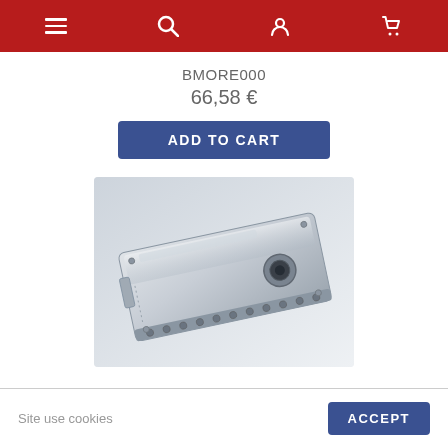Navigation bar with menu, search, account, and cart icons
BMORE000
66,58 €
ADD TO CART
[Figure (photo): Silver/chrome automotive oil pan or engine sump component, metallic cast aluminum part photographed on white/light gray background]
Site use cookies
ACCEPT